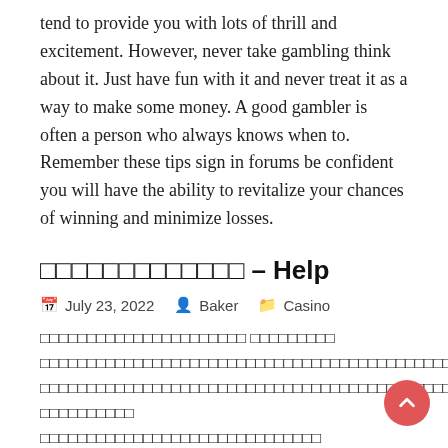tend to provide you with lots of thrill and excitement. However, never take gambling think about it. Just have fun with it and never treat it as a way to make some money. A good gambler is often a person who always knows when to. Remember these tips sign in forums be confident you will have the ability to revitalize your chances of winning and minimize losses.
□□□□□□□□□□□□□ – Help
July 23, 2022  Baker  Casino
□□□□□□□□□□□□□□□□□□□□□□ □□□□□□□□□ □□□□□□□□□□□□□□□□□□□□□□□□□□□□□□□□□□□□□□□□□□□□□□□□□□□□□□□□□□□□□□□□□□□□□□□□□□□□□□□□□□□□□□ □□□□□□□□□□□□□□□□□□□□□□□□ □□□□□□□□□□□□□□□□□□□□□□□□□□□□□□□□□□□□□□□□□□□□□□□□□□□□□□□□□□□□□□□□□□ □□□□□□□□□□□□□□□□□□□ □□□□□□□□□□□□